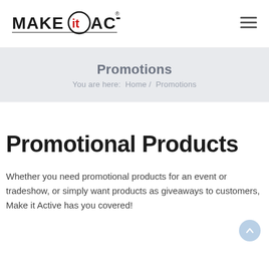[Figure (logo): Make it Active logo — stylized text with a circle containing 'it' in red/black]
Promotions
You are here:  Home /  Promotions
Promotional Products
Whether you need promotional products for an event or tradeshow, or simply want products as giveaways to customers, Make it Active has you covered!